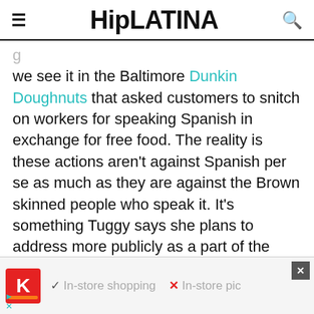HipLATINA
we see it in the Baltimore Dunkin Doughnuts that asked customers to snitch on workers for speaking Spanish in exchange for free food. The reality is these actions aren't against Spanish per se as much as they are against the Brown skinned people who speak it. It's something Tuggy says she plans to address more publicly as a part of the evolution of her channel but also as the political discourse becomes more threatening toward Latinos
[Figure (screenshot): Advertisement banner showing a Kohl's store logo with text: checkmark In-store shopping, X In-store pic[kup]]